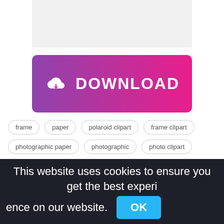[Figure (other): Gray placeholder image area at the top of the page]
[Figure (other): Download button with gradient background (purple to pink), cloud download icon, and text DOWNLOAD]
frame
paper
polaroid clipart
frame clipart
photographic paper
photographic
photo clipart
polaroid
PNG info, 509x514px
Non-commercial use, DMCA Contact Us
This website uses cookies to ensure you get the best experience on our website.  OK